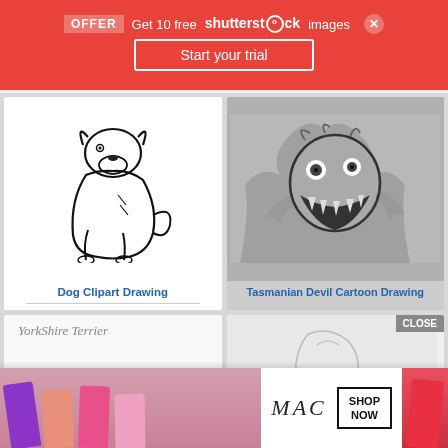[Figure (screenshot): Shutterstock promotional banner with red background, OFFER badge, 'Get 10 free shutterstock images' text, 'Start your trial' button, and close X button]
[Figure (illustration): Dog clipart drawing - outline sketch of a sitting dog on white background]
Dog Clipart Drawing
[Figure (photo): Tasmanian Devil Cartoon Drawing - dark greyscale tattoo-style illustration of a snarling monster/tasmanian devil]
Tasmanian Devil Cartoon Drawing
[Figure (illustration): Yorkshire Terrier drawing with handwritten 'Yorkshire Terrier' text label, partially visible]
[Figure (screenshot): Partially visible drawing image with CLOSE badge]
[Figure (advertisement): MAC cosmetics advertisement showing lipsticks in purple, pink, and red colors with MAC logo and SHOP NOW button in a white box]